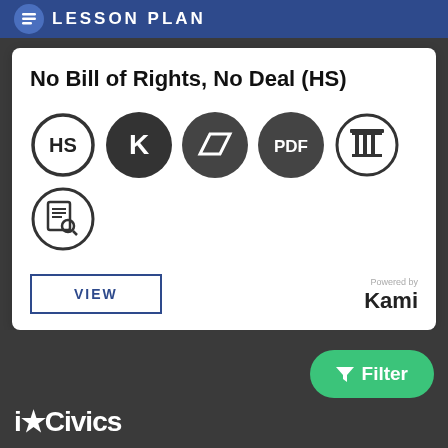LESSON PLAN
No Bill of Rights, No Deal (HS)
[Figure (infographic): Six circular icons representing lesson attributes: HS (high school, outline circle), K (Kami, dark filled circle), a parallelogram/document icon (dark filled circle), PDF (dark filled circle), a column/pillar icon (outline circle), and a document-search icon (outline circle).]
VIEW
Powered by
Kami
iCivics
Filter